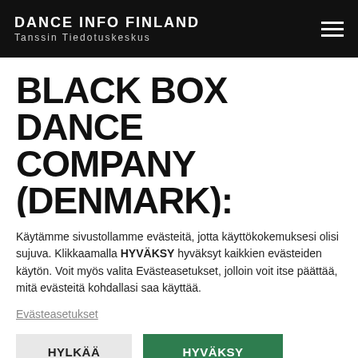DANCE INFO FINLAND Tanssin Tiedotuskeskus
BLACK BOX DANCE COMPANY (DENMARK): AUDITION FOR THE DANISH GIRL
Käytämme sivustollamme evästeitä, jotta käyttökokemuksesi olisi sujuva. Klikkaamalla HYVÄKSY hyväksyt kaikkien evästeiden käytön. Voit myös valita Evästeasetukset, jolloin voit itse päättää, mitä evästeitä kohdallasi saa käyttää.
Evästeasetukset
HYLKÄÄ
HYVÄKSY